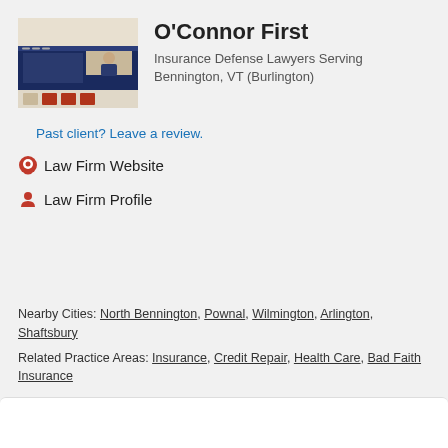[Figure (screenshot): Screenshot of O'Connor First law firm website showing a lawyer in a suit]
O'Connor First
Insurance Defense Lawyers Serving Bennington, VT (Burlington)
Past client? Leave a review.
Law Firm Website
Law Firm Profile
Nearby Cities: North Bennington, Pownal, Wilmington, Arlington, Shaftsbury
Related Practice Areas: Insurance, Credit Repair, Health Care, Bad Faith Insurance